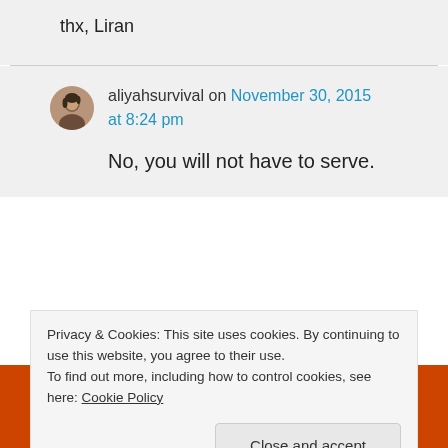thx, Liran
aliyahsurvival on November 30, 2015 at 8:24 pm
No, you will not have to serve.
[Figure (screenshot): DuckDuckGo banner with duck logo on dark background with orange sides]
Privacy & Cookies: This site uses cookies. By continuing to use this website, you agree to their use.
To find out more, including how to control cookies, see here: Cookie Policy